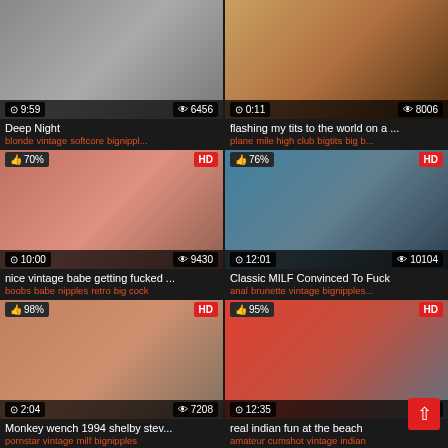[Figure (screenshot): Video thumbnail grid showing 6 adult video thumbnails with titles, tags, duration, view counts, and HD/like badges]
Deep Night
blonde vintage softcore bignippl...
flashing my tits to the world on a ...
plane mile high club bigtits big b...
nice vintage babe getting fucked ...
boobs babe nipples retro big cock
Classic MILF Convinced To Fuck
anal brunette vintage bignipples...
Monkey wench 1994 shelby stev...
pornstar vintage milf bignipples
real indian fun at the beach
amateur cumshot vintage indian